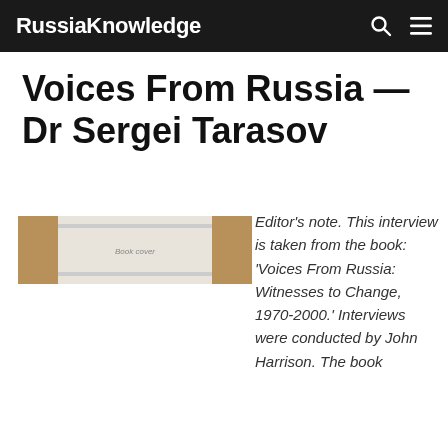RussiaKnowledge
Voices From Russia — Dr Sergei Tarasov
[Figure (photo): Photograph of a book spine/cover, showing a white and beige book with text on the spine, photographed from above at an angle.]
Editor's note. This interview is taken from the book: 'Voices From Russia: Witnesses to Change, 1970-2000.' Interviews were conducted by John Harrison. The book